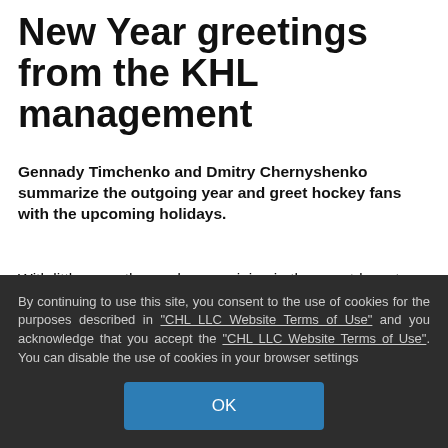New Year greetings from the KHL management
Gennady Timchenko and Dmitry Chernyshenko summarize the outgoing year and greet hockey fans with the upcoming holidays.
With little more than a day remaining in the countdown to the New Year, amid the preparations and congratulations which accompany this festive season, many are also taking stock of the past twelve months and pondering what awaits them in 2017, and of course, the hockey world is no exception. With this in mind, two of the leading figures from the Kontinental Hockey League's top management, Gennady
By continuing to use this site, you consent to the use of cookies for the purposes described in "CHL LLC Website Terms of Use" and you acknowledge that you accept the "CHL LLC Website Terms of Use". You can disable the use of cookies in your browser settings